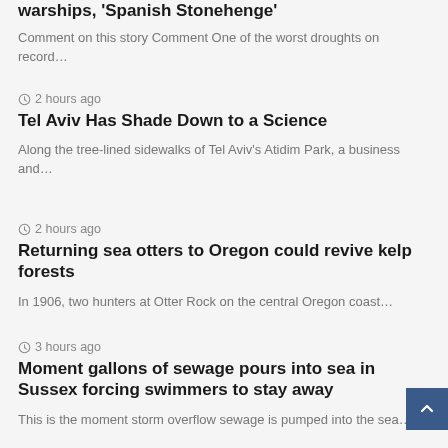warships, 'Spanish Stonehenge'
Comment on this story Comment One of the worst droughts on record…
⊙ 2 hours ago
Tel Aviv Has Shade Down to a Science
Along the tree-lined sidewalks of Tel Aviv's Atidim Park, a business and…
⊙ 2 hours ago
Returning sea otters to Oregon could revive kelp forests
In 1906, two hunters at Otter Rock on the central Oregon coast…
⊙ 3 hours ago
Moment gallons of sewage pours into sea in Sussex forcing swimmers to stay away
This is the moment storm overflow sewage is pumped into the sea…